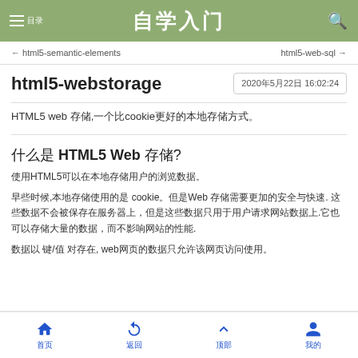自学入门
← html5-semantic-elements    html5-web-sql →
html5-webstorage
2020年5月22日 16:02:24
HTML5 web 存储,一个比cookie更好的本地存储方式。
什么是 HTML5 Web 存储?
使用HTML5可以在本地存储用户的浏览数据。
早些时候,本地存储使用的是 cookie。但是Web 存储需要更加的安全与快速. 这些数据不会被保存在服务器上，但是这些数据只用于用户请求网站数据上.它也可以存储大量的数据，而不影响网站的性能.
数据以 键/值 对存在, web网页的数据只允许该网页访问使用。
首页  返回  顶部  我的